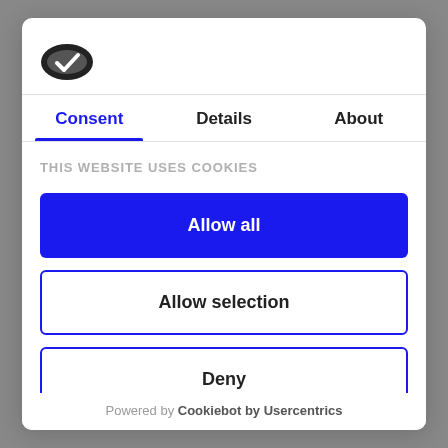[Figure (logo): Cookiebot logo: dark oval cookie icon with checkmark]
Consent | Details | About
THIS WEBSITE USES COOKIES
Allow all
Allow selection
Deny
Powered by Cookiebot by Usercentrics